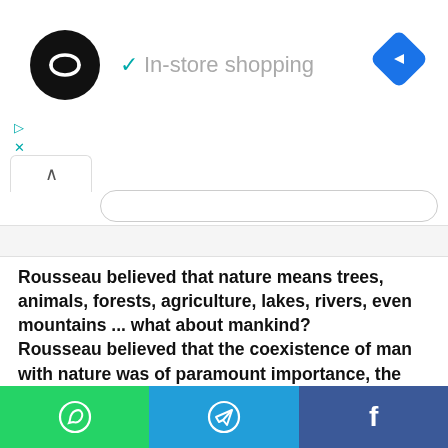[Figure (screenshot): App header with black circle logo with double arrow symbol, checkmark and 'In-store shopping' text in gray, navigation blue diamond icon on the right, small play and close icons below, dropdown tab with up-arrow chevron, search/input bar, and gray content area below]
Rousseau believed that nature means trees, animals, forests, agriculture, lakes, rivers, even mountains ... what about mankind?
Rousseau believed that the coexistence of man with nature was of paramount importance, the social relations of man, his behavior and the language which man could easily understand .... Mins mother tongue. Our mother tongue can understand nature .....
There will be many languages of knowledge in the world but there is only one language in the heart, in which friends are sifted, joked or taken close to nature.
[Figure (screenshot): Bottom share bar with three buttons: WhatsApp (green), Telegram (blue), Facebook (dark blue), each with white icon]